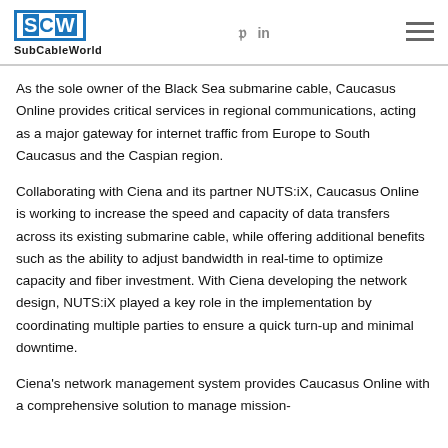SubCableWorld
As the sole owner of the Black Sea submarine cable, Caucasus Online provides critical services in regional communications, acting as a major gateway for internet traffic from Europe to South Caucasus and the Caspian region.
Collaborating with Ciena and its partner NUTS:iX, Caucasus Online is working to increase the speed and capacity of data transfers across its existing submarine cable, while offering additional benefits such as the ability to adjust bandwidth in real-time to optimize capacity and fiber investment. With Ciena developing the network design, NUTS:iX played a key role in the implementation by coordinating multiple parties to ensure a quick turn-up and minimal downtime.
Ciena's network management system provides Caucasus Online with a comprehensive solution to manage mission-